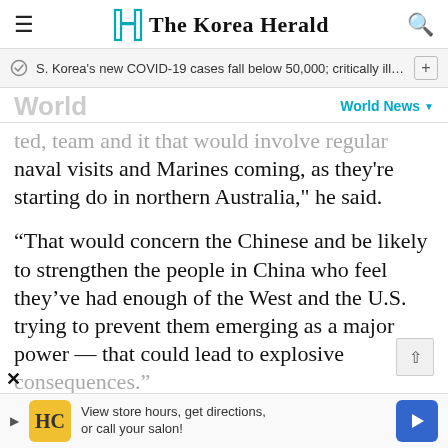The Korea Herald
S. Korea's new COVID-19 cases fall below 50,000; critically ill case…
World
ted, team and it that would involve regular naval visits and Marines coming, as they're starting do in northern Australia," he said.
“That would concern the Chinese and be likely to strengthen the people in China who feel they’ve had enough of the West and the U.S. trying to prevent them emerging as a major power — that could lead to explosive consequences.”
View store hours, get directions, or call your salon!